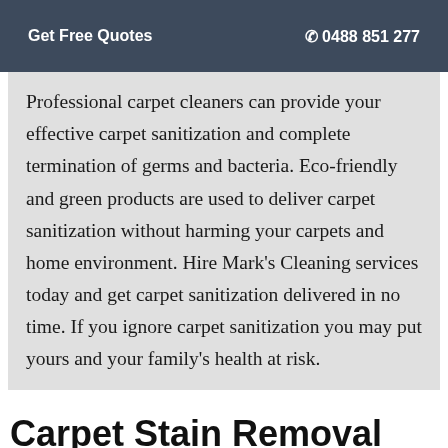Get Free Quotes  ☎ 0488 851 277
Professional carpet cleaners can provide your effective carpet sanitization and complete termination of germs and bacteria. Eco-friendly and green products are used to deliver carpet sanitization without harming your carpets and home environment. Hire Mark's Cleaning services today and get carpet sanitization delivered in no time. If you ignore carpet sanitization you may put yours and your family's health at risk.
Carpet Stain Removal Petrie Terrace